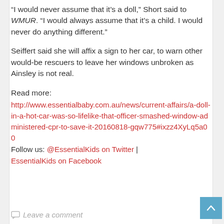“I would never assume that it’s a doll,” Short said to WMUR. “I would always assume that it’s a child. I would never do anything different.”
Seiffert said she will affix a sign to her car, to warn other would-be rescuers to leave her windows unbroken as Ainsley is not real.
Read more:
http://www.essentialbaby.com.au/news/current-affairs/a-doll-in-a-hot-car-was-so-lifelike-that-officer-smashed-window-administered-cpr-to-save-it-20160818-gqw775#ixzz4XyLq5a00
Follow us: @EssentialKids on Twitter | EssentialKids on Facebook
Leave a comment